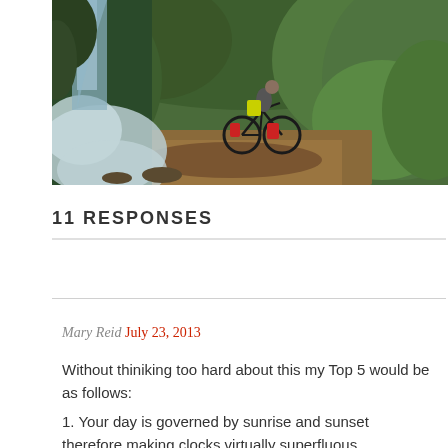[Figure (photo): Cyclists on a muddy forest trail with a waterfall on the left side, surrounded by lush green vegetation.]
11 RESPONSES
Mary Reid July 23, 2013
Without thiniking too hard about this my Top 5 would be as follows:
1. Your day is governed by sunrise and sunset therefore making clocks virtually superfluous
2. Having the faith in your fellow man restored on a